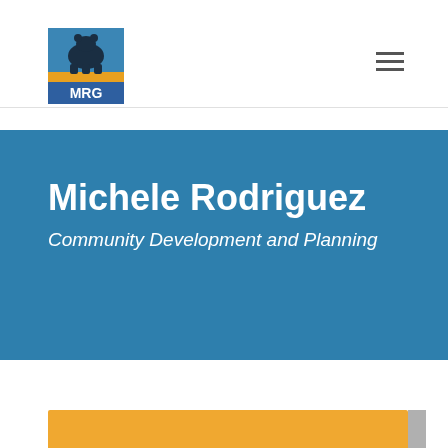[Figure (logo): MRG logo — a black bear silhouette against an orange/yellow background with blue sky, text 'MRG' below]
Michele Rodriguez
Community Development and Planning
[Figure (photo): Partial orange/yellow image visible at bottom of page, with a gray element at right edge]